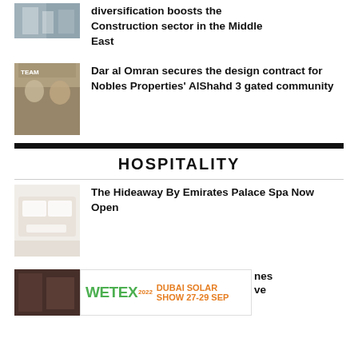[Figure (photo): Partial thumbnail of a building/construction scene]
diversification boosts the Construction sector in the Middle East
[Figure (photo): Two men seated at a table in a formal meeting setting, with a banner visible in background]
Dar al Omran secures the design contract for Nobles Properties' AlShahd 3 gated community
HOSPITALITY
[Figure (photo): Spa/hotel room interior with white furnishings and soft lighting]
The Hideaway By Emirates Palace Spa Now Open
[Figure (photo): Dark textured background, bottom article thumbnail]
[Figure (other): WETEX 2022 Dubai Solar Show 27-29 SEP advertisement banner]
nes ve